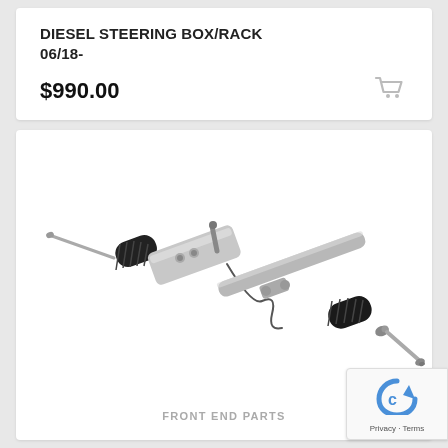DIESEL STEERING BOX/RACK 06/18-
$990.00
[Figure (photo): Diesel power steering rack and pinion assembly with black rubber boots on both ends, silver metal housing in the center, and tie rod ends. The unit is positioned diagonally on a white background.]
FRONT END PARTS